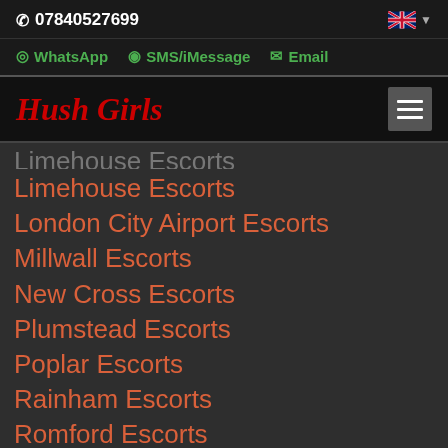07840527699
WhatsApp  SMS/iMessage  Email
Hush Girls
Limehouse Escorts
London City Airport Escorts
Millwall Escorts
New Cross Escorts
Plumstead Escorts
Poplar Escorts
Rainham Escorts
Romford Escorts
Seven Kings Escorts
Shooters Hill Escorts
Sidcup Escorts (partial)